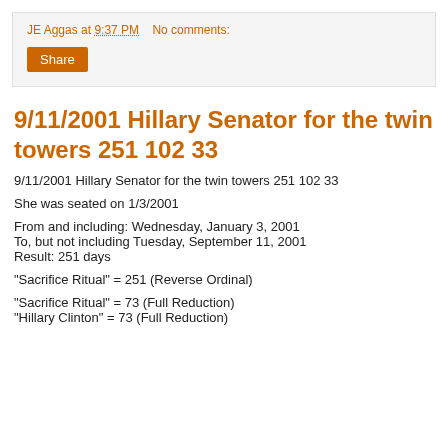JE Aggas at 9:37 PM   No comments:
9/11/2001 Hillary Senator for the twin towers 251 102 33
9/11/2001 Hillary Senator for the twin towers 251 102 33
She was seated on 1/3/2001
From and including: Wednesday, January 3, 2001
To, but not including Tuesday, September 11, 2001
Result: 251 days
"Sacrifice Ritual" = 251 (Reverse Ordinal)
"Sacrifice Ritual" = 73 (Full Reduction)
"Hillary Clinton" = 73 (Full Reduction)